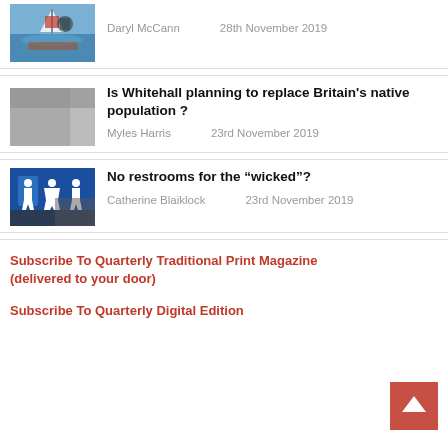[Figure (photo): Thumbnail image for first article - boat/sailing scene]
Daryl McCann    28th November 2019
[Figure (photo): Thumbnail image for second article - partially visible]
Is Whitehall planning to replace Britain's native population ?
Myles Harris    23rd November 2019
[Figure (photo): Thumbnail image for restrooms article - blue sign with people figures]
No restrooms for the “wicked”?
Catherine Blaiklock    23rd November 2019
Subscribe To Quarterly Traditional Print Magazine (delivered to your door)
Subscribe To Quarterly Digital Edition